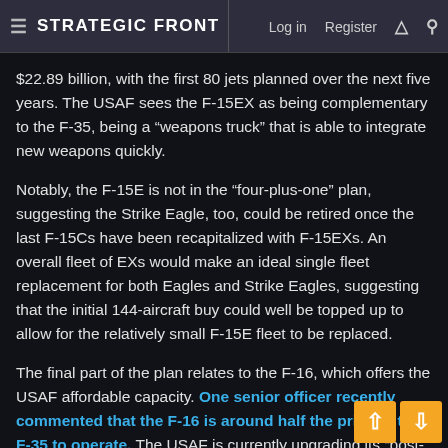≡ STRATEGIC FRONT   Log in   Register
$22.89 billion, with the first 80 jets planned over the next five years. The USAF sees the F-15EX as being complementary to the F-35, being a “weapons truck” that is able to integrate new weapons quickly.
Notably, the F-15E is not in the “four-plus-one” plan, suggesting the Strike Eagle, too, could be retired once the last F-15Cs have been recapitalized with F-15EXs. An overall fleet of EXs would make an ideal single fleet replacement for both Eagles and Strike Eagles, suggesting that the initial 144-aircraft buy could well be topped up to allow for the relatively small F-15E fleet to be replaced.
The final part of the plan relates to the F-16, which offers the USAF affordable capacity. One senior officer recently commented that the F-16 is around half the price of the F-35 to operate. The USAF is currently upgrading its “post-Block” F-16s — aircraft of Block 40/42/50/52. With plenty of service life remaining, replacing these jets won’t come any time so… However, the USAF is already evaluating its options. Two have